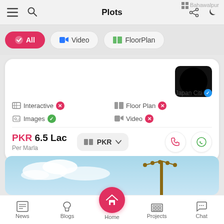Plots
All | Video | FloorPlan
Interactive ✗  Floor Plan ✗  Japan Citi ✓  Images ✓  Video ✗
PKR 6.5 Lac Per Marla
PKR ▼
[Figure (screenshot): Mobile app bottom navigation bar with News, Blogs, Home (active red circle), Projects, Chat icons]
News  Blogs  Home  Projects  Chat